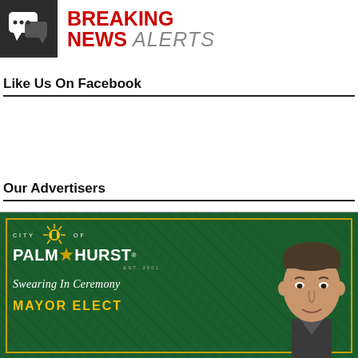[Figure (logo): Breaking News Alerts banner with chat icon on dark background and red/gray text]
Like Us On Facebook
Our Advertisers
[Figure (photo): City of Palmhurst Swearing In Ceremony Mayor Elect advertisement on green background with gold border, showing a man's face on the right side]